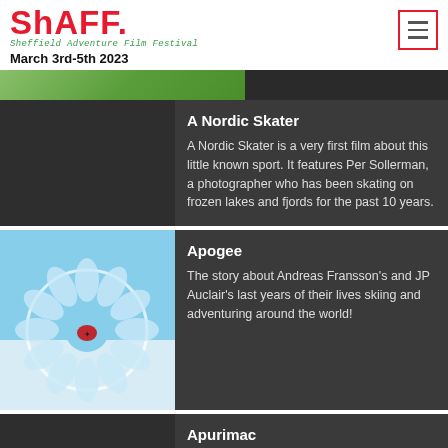ShAFF. Sheffield Adventure Film Festival
March 3rd-5th 2023
[Figure (photo): Top image strip with green/nature tones on left and dark on right]
A Nordic Skater
A Nordic Skater is a very first film about this little known sport. It features Per Sollerman, a photographer who has been skating on frozen lakes and fjords for the past 10 years.
[Figure (photo): Aerial view of ice formation with skiers visible through circular ice hole, blue sky background]
Apogee
The story about Andreas Fransson's and JP Auclair's last years of their lives skiing and adventuring around the world!
Apurimac
From the Peruvian mountains to the entrance of the Amazon rain forest, this movie recounts a long and difficult